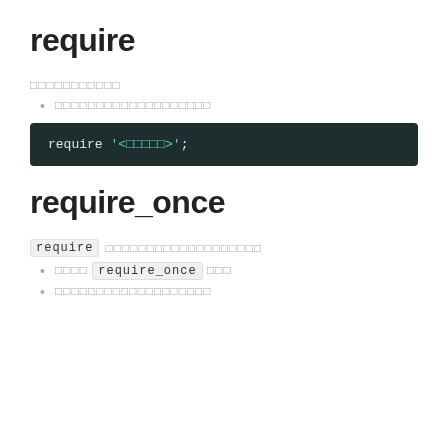require
□□□□□□□□□□□
□□□□□□□□□□□□□□□□□□□
require '<□□□□□>';
require_once
require □□□□□□□□□□□□□□□□□□□
□□□□ require_once □□□
□□□□□□□□□□□□□□□□□□□